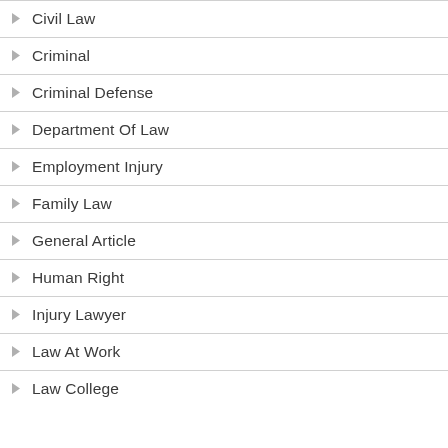Civil Law
Criminal
Criminal Defense
Department Of Law
Employment Injury
Family Law
General Article
Human Right
Injury Lawyer
Law At Work
Law College